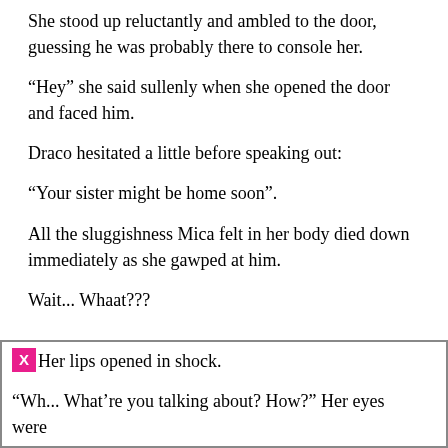She stood up reluctantly and ambled to the door, guessing he was probably there to console her.
“Hey” she said sullenly when she opened the door and faced him.
Draco hesitated a little before speaking out:
“Your sister might be home soon”.
All the sluggishness Mica felt in her body died down immediately as she gawped at him.
Wait... Whaat???
Her lips opened in shock.
“Wh... What’re you talking about? How?” Her eyes were